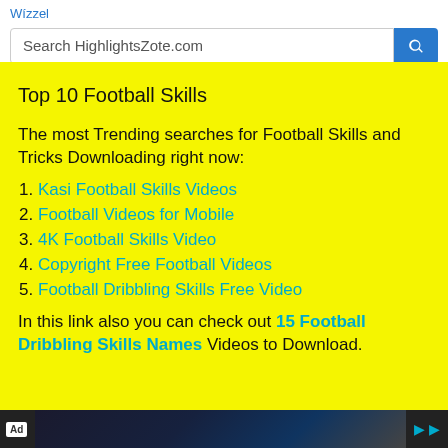Wízzel
Search HighlightsZote.com
Top 10 Football Skills
The most Trending searches for Football Skills and Tricks Downloading right now:
1. Kasi Football Skills Videos
2. Football Videos for Mobile
3. 4K Football Skills Video
4. Copyright Free Football Videos
5. Football Dribbling Skills Free Video
In this link also you can check out 15 Football Dribbling Skills Names Videos to Download.